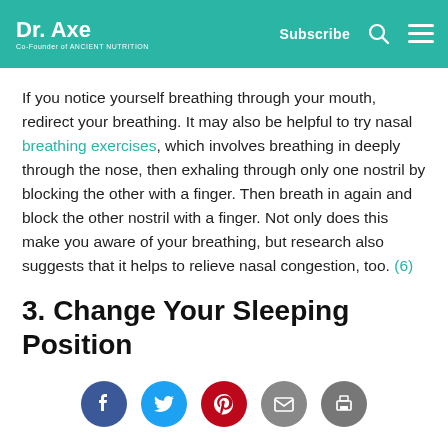Dr. Axe — Co-Founder of Ancient Nutrition | Subscribe
If you notice yourself breathing through your mouth, redirect your breathing. It may also be helpful to try nasal breathing exercises, which involves breathing in deeply through the nose, then exhaling through only one nostril by blocking the other with a finger. Then breath in again and block the other nostril with a finger. Not only does this make you aware of your breathing, but research also suggests that it helps to relieve nasal congestion, too. (6)
3. Change Your Sleeping Position